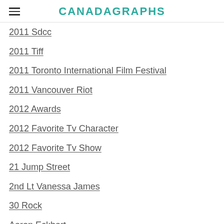CANADAGRAPHS
2011 Sdcc
2011 Tiff
2011 Toronto International Film Festival
2011 Vancouver Riot
2012 Awards
2012 Favorite Tv Character
2012 Favorite Tv Show
21 Jump Street
2nd Lt Vanessa James
30 Rock
Aaron Eckhart
Aaron Houston
Abbie Cornish
Abigail Breslin